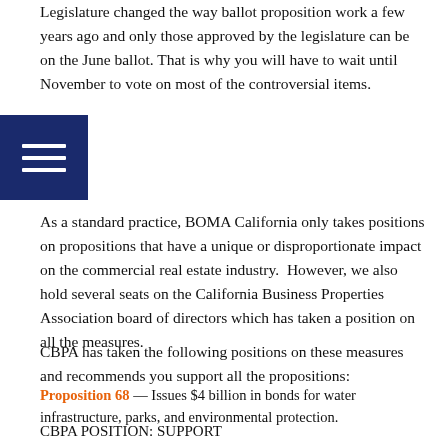Legislature changed the way ballot proposition work a few years ago and only those approved by the legislature can be on the June ballot. That is why you will have to wait until November to vote on most of the controversial items.
As a standard practice, BOMA California only takes positions on propositions that have a unique or disproportionate impact on the commercial real estate industry. However, we also hold several seats on the California Business Properties Association board of directors which has taken a position on all the measures.
CBPA has taken the following positions on these measures and recommends you support all the propositions:
Proposition 68 — Issues $4 billion in bonds for water infrastructure, parks, and environmental protection.
CBPA POSITION: SUPPORT